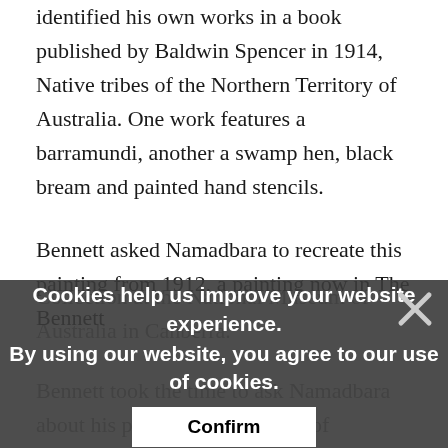identified his own works in a book published by Baldwin Spencer in 1914, Native tribes of the Northern Territory of Australia. One work features a barramundi, another a swamp hen, black bream and painted hand stencils.
Bennett asked Namadbara to recreate this painting from 1912, a painting now in The Bennett Collection at the National Museum of Australia in Canberra.
[Figure (screenshot): Cookie consent overlay with dark semi-transparent background, heading 'Cookies help us improve your website experience.', subtext 'By using our website, you agree to our use of cookies.', a white Confirm button, and an X close button in the top right.]
Bennett took the time to ask Namadbara about his personal experiences of Spencer's visit to Oenpelli in 1912. Namadbara said Spencer asked chosen artists to create bark paintings on small, transport-friendly bark sheets, which they had